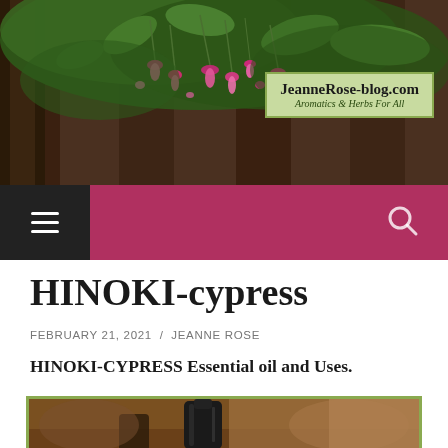[Figure (photo): Garden background header photo with fuchsia/pink hanging flowers and green foliage against wooden fence]
JeanneRose-blog.com
Aromatics & Herbs For All
[Figure (other): Navigation bar with hamburger menu icon on dark background and search icon]
HINOKI-cypress
FEBRUARY 21, 2021 / JEANNE ROSE
HINOKI-CYPRESS Essential oil and Uses.
[Figure (photo): Photo of essential oil bottle in dark glass container with blurred background]